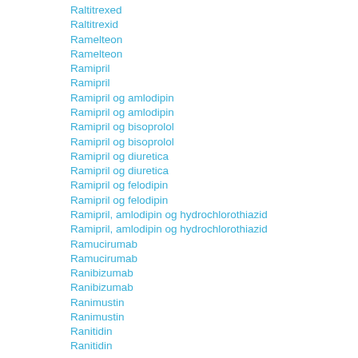Raltitrexed
Raltitrexid
Ramelteon
Ramelteon
Ramipril
Ramipril
Ramipril og amlodipin
Ramipril og amlodipin
Ramipril og bisoprolol
Ramipril og bisoprolol
Ramipril og diuretica
Ramipril og diuretica
Ramipril og felodipin
Ramipril og felodipin
Ramipril, amlodipin og hydrochlorothiazid
Ramipril, amlodipin og hydrochlorothiazid
Ramucirumab
Ramucirumab
Ranibizumab
Ranibizumab
Ranimustin
Ranimustin
Ranitidin
Ranitidin